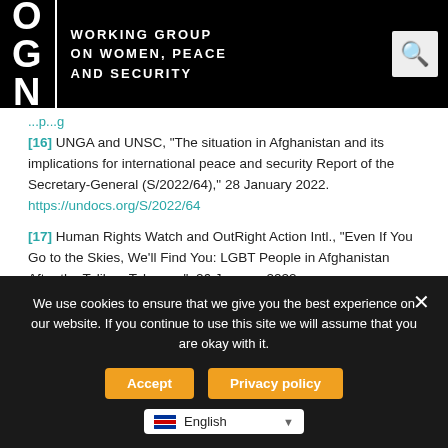NGO Working Group on Women, Peace and Security
[16] UNGA and UNSC, “The situation in Afghanistan and its implications for international peace and security Report of the Secretary-General (S/2022/64),” 28 January 2022. https://undocs.org/S/2022/64
[17] Human Rights Watch and OutRight Action Intl., “Even If You Go to the Skies, We’ll Find You: LGBT People in Afghanistan After the Taliban Takeover”, 26 January 2022. https://www.hrw.org/report/2022/01/26/even-if-you-go-skies-well-find-you/lgbt-people-afghanistan-after-taliban-takeover
We use cookies to ensure that we give you the best experience on our website. If you continue to use this site we will assume that you are okay with it.